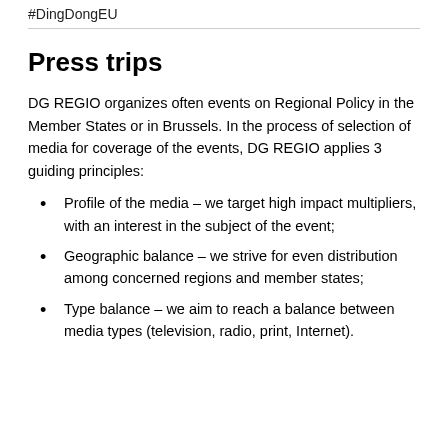#DingDongEU
Press trips
DG REGIO organizes often events on Regional Policy in the Member States or in Brussels. In the process of selection of media for coverage of the events, DG REGIO applies 3 guiding principles:
Profile of the media – we target high impact multipliers, with an interest in the subject of the event;
Geographic balance – we strive for even distribution among concerned regions and member states;
Type balance – we aim to reach a balance between media types (television, radio, print, Internet).